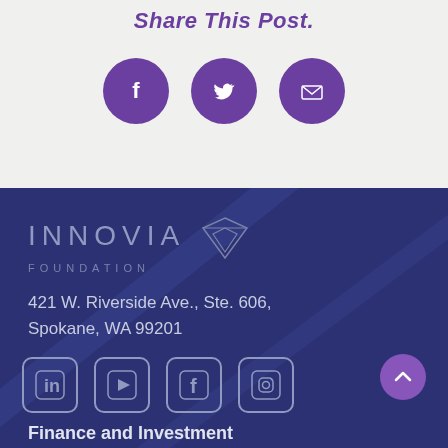Share This Post.
[Figure (illustration): Three purple circular social media share icons: Facebook, Twitter, and Email]
[Figure (logo): Innovia Foundation logo with geometric triangle icon in light gray/blue on dark navy background]
421 W. Riverside Ave., Ste. 606, Spokane, WA 99201
[Figure (illustration): Four social media icons in rounded square outlines: LinkedIn, YouTube, Facebook, Instagram]
Finance and Investment